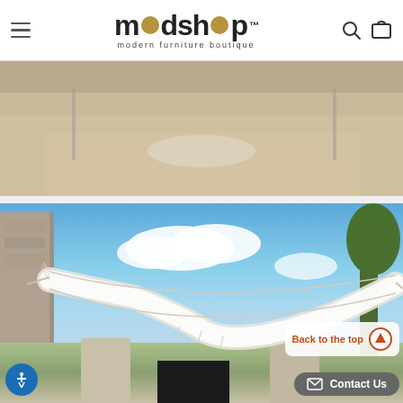modshop modern furniture boutique
[Figure (photo): Outdoor scene with sandy/concrete ground and furniture partially visible, neutral tones]
[Figure (photo): Hammock hanging between stone walls outdoors with blue sky and clouds, trees in background]
Back to the top
Contact Us